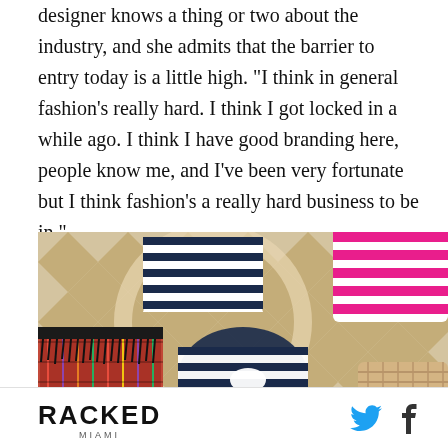designer knows a thing or two about the industry, and she admits that the barrier to entry today is a little high. "I think in general fashion's really hard. I think I got locked in a while ago. I think I have good branding here, people know me, and I've been very fortunate but I think fashion's a really hard business to be in."
[Figure (photo): Flat lay photo of bikinis and accessories on a patterned background. Includes navy blue and white striped bikini, pink and white striped bikini top, colorful embroidered pouch with fringe, a straw bag, and floral fabric, arranged on a gold and white geometric pattern surface.]
RACKED MIAMI